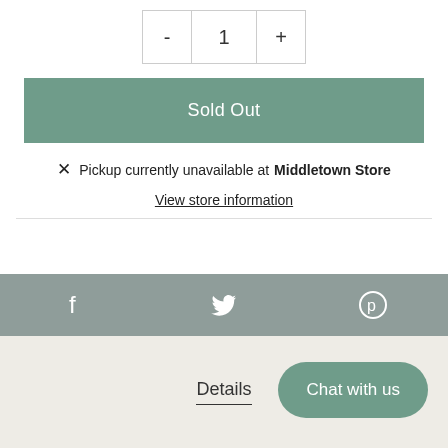[Figure (screenshot): Quantity selector with minus button, number 1, and plus button]
Sold Out
Pickup currently unavailable at Middletown Store
View store information
[Figure (infographic): Social media icons bar: Facebook, Twitter, Pinterest on grey background]
Details
Chat with us